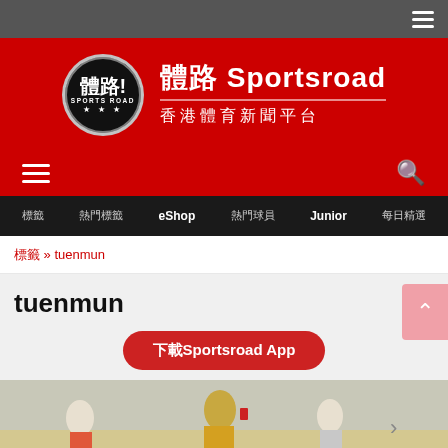≡ (hamburger menu icon in top gray bar)
[Figure (logo): Sportsroad logo: circular badge with Chinese characters 體路 and text SPORTS ROAD with stars, beside site name 體路 Sportsroad and subtitle 香港體育新聞平台]
≡ (menu) and 🔍 (search) on red bar
標籤 | 熱門標籤 | eShop | 熱門球員 | Junior | 每日精選
標籤 » tuenmun
tuenmun
下載Sportsroad App
[Figure (photo): Partial photo of football/soccer match with players and referee visible at the bottom of the page]